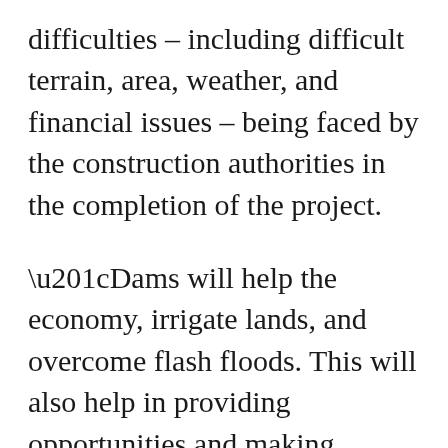difficulties – including difficult terrain, area, weather, and financial issues – being faced by the construction authorities in the completion of the project.
“Dams will help the economy, irrigate lands, and overcome flash floods. This will also help in providing opportunities and making Pakistan progressive,” Shehbaz said, adding that international investors should come forward for this project.